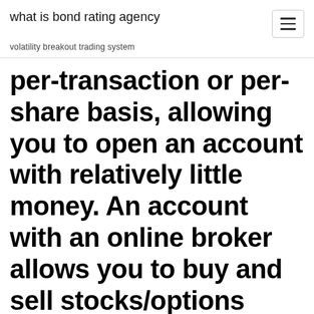what is bond rating agency
volatility breakout trading system
per-transaction or per-share basis, allowing you to open an account with relatively little money. An account with an online broker allows you to buy and sell stocks/options instantly with just a few clicks. Since these types of brokers provide absolutely no investment advice.